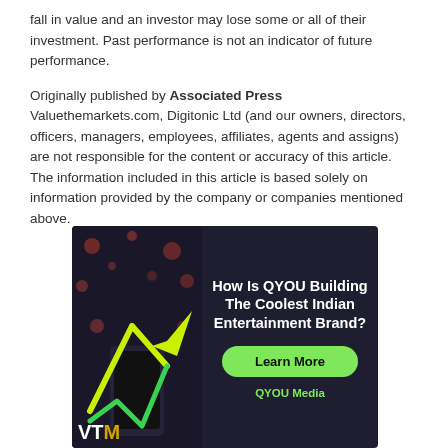fall in value and an investor may lose some or all of their investment. Past performance is not an indicator of future performance.
Originally published by Associated Press Valuethemarkets.com, Digitonic Ltd (and our owners, directors, officers, managers, employees, affiliates, agents and assigns) are not responsible for the content or accuracy of this article. The information included in this article is based solely on information provided by the company or companies mentioned above.
[Figure (infographic): Advertisement banner for QYOU Media. Left side shows a dark background with a hand holding a phone and green arrow/checkmark graphic with 'VTM' logo at bottom. Right side on dark background shows bold white text 'How Is QYOU Building The Coolest Indian Entertainment Brand?' with a green Learn More button and 'QYOU Media' in green text at bottom.]